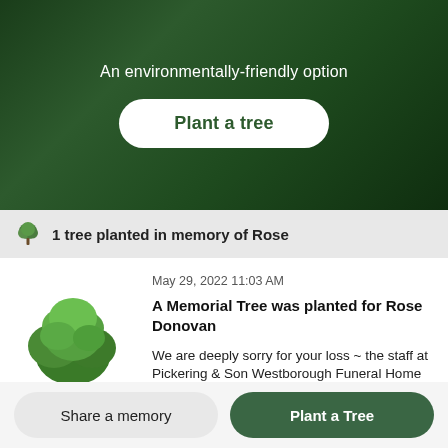An environmentally-friendly option
Plant a tree
1 tree planted in memory of Rose
May 29, 2022 11:03 AM
A Memorial Tree was planted for Rose Donovan
We are deeply sorry for your loss ~ the staff at Pickering & Son Westborough Funeral Home
Join in honoring their life - plant a memorial tree
Share a memory
Plant a Tree